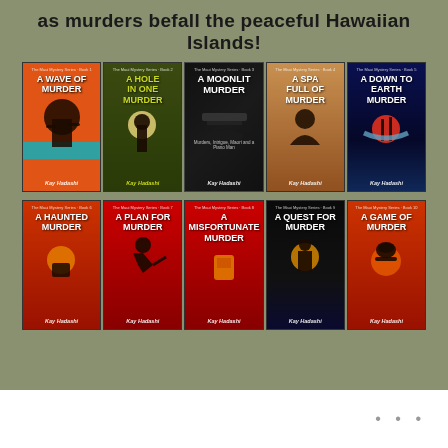as murders befall the peaceful Hawaiian Islands!
[Figure (illustration): Two rows of five book covers each from the Maui Mystery Series by Kay Hadashi. Row 1: A Wave of Murder, A Hole in One Murder, A Moonlit Murder, A Spa Full of Murder, A Down to Earth Murder. Row 2: A Haunted Murder, A Plan for Murder, A Misfortunate Murder, A Quest for Murder, A Game of Murder.]
• • •